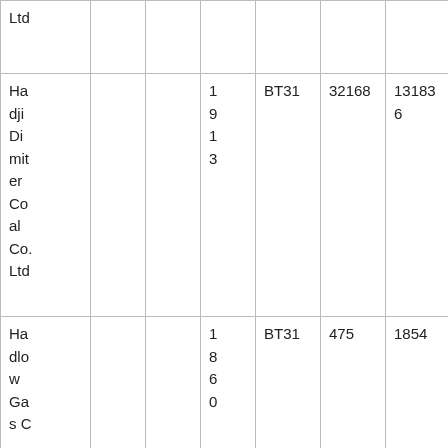| Ltd |  |  |  |  |  |  |
| Hadji Dimitier Coal Co. Ltd |  |  | 1913 | BT31 | 32168 | 131836 |
| Hadlow Gas C |  |  | 1860 | BT31 | 475 | 1854 |